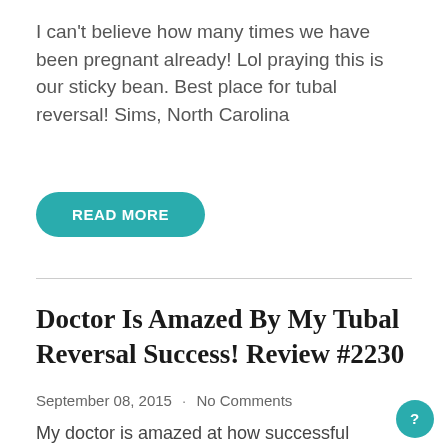I can't believe how many times we have been pregnant already! Lol praying this is our sticky bean. Best place for tubal reversal! Sims, North Carolina
READ MORE
Doctor Is Amazed By My Tubal Reversal Success! Review #2230
September 08, 2015 · No Comments
My doctor is amazed at how successful this whole